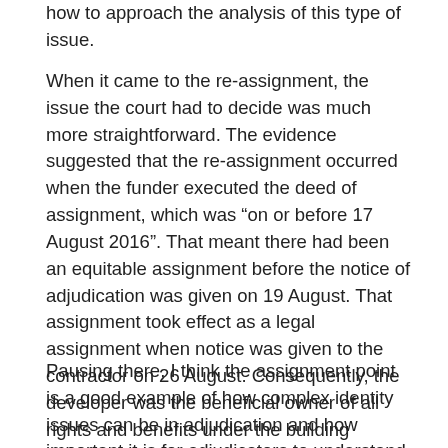how to approach the analysis of this type of issue.
When it came to the re-assignment, the issue the court had to decide was much more straightforward. The evidence suggested that the re-assignment occurred when the funder executed the deed of assignment, which was “on or before 17 August 2016”. That meant there had been an equitable assignment before the notice of adjudication was given on 19 August. That assignment took effect as a legal assignment when notice was given to the contractor on 26 August. Consequently, the developer was the beneficial owner of all rights and benefits under the building contract and was in a position to refer the dispute to adjudication.
Pausing there, I think the assignment point is a good example of how complex identity issues can be in adjudication and how important it is for adjudicators to understand the law and relevant legal principles. Some